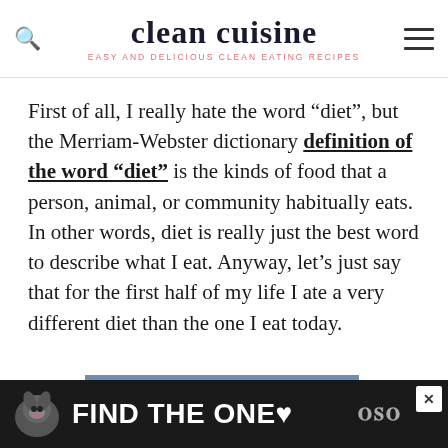clean cuisine — EASY AND DELICIOUS CLEAN EATING RECIPES
First of all, I really hate the word “diet”, but the Merriam-Webster dictionary definition of the word “diet” is the kinds of food that a person, animal, or community habitually eats. In other words, diet is really just the best word to describe what I eat. Anyway, let’s just say that for the first half of my life I ate a very different diet than the one I eat today.
[Figure (photo): Advertisement banner showing a person's head, partially visible, with a close button in the top right corner.]
[Figure (photo): Bottom advertisement banner with dark background showing a dog image and text 'FIND THE ONE' with a heart symbol, plus a close button and watermark logo.]